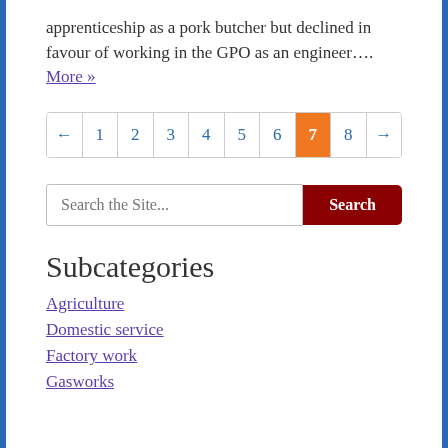apprenticeship as a pork butcher but declined in favour of working in the GPO as an engineer…. More »
Pagination: ← 1 2 3 4 5 6 7 (active) 8 →
Search the Site... [Search button]
Subcategories
Agriculture
Domestic service
Factory work
Gasworks